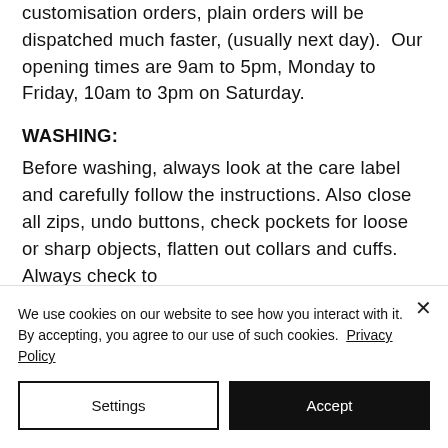customisation orders, plain orders will be dispatched much faster, (usually next day).  Our opening times are 9am to 5pm, Monday to Friday, 10am to 3pm on Saturday.
WASHING:
Before washing, always look at the care label and carefully follow the instructions. Also close all zips, undo buttons, check pockets for loose or sharp objects, flatten out collars and cuffs. Always check to
We use cookies on our website to see how you interact with it. By accepting, you agree to our use of such cookies.  Privacy Policy
Settings
Accept